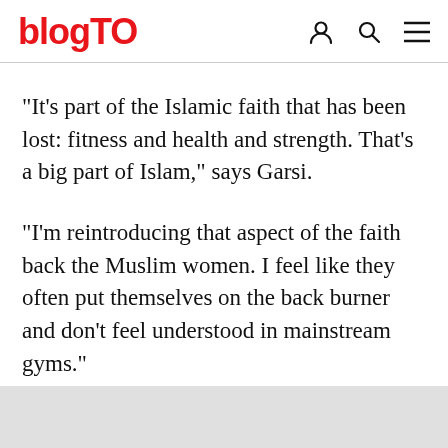blogTO
"It's part of the Islamic faith that has been lost: fitness and health and strength. That's a big part of Islam," says Garsi.
"I'm reintroducing that aspect of the faith back the Muslim women. I feel like they often put themselves on the back burner and don't feel understood in mainstream gyms."